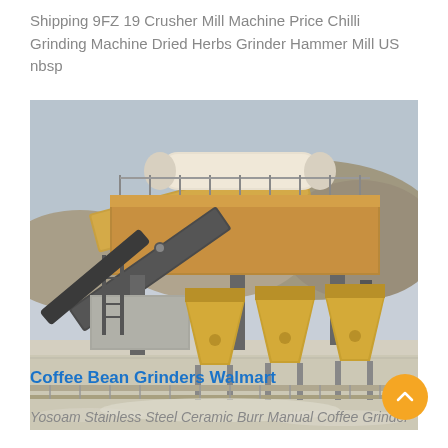Shipping 9FZ 19 Crusher Mill Machine Price Chilli Grinding Machine Dried Herbs Grinder Hammer Mill US nbsp
[Figure (photo): Industrial crusher/hammer mill machine installation at a quarry or mining site. Large yellow and rust-colored industrial equipment with conveyor belts, hoppers, and structural steel framework set against a rocky hillside background under a hazy sky.]
Coffee Bean Grinders Walmart
Yosoam Stainless Steel Ceramic Burr Manual Coffee Grinder...